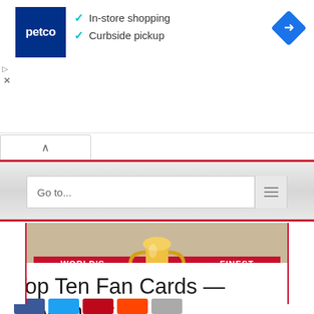[Figure (screenshot): Petco advertisement banner showing logo with blue background, checkmarks for In-store shopping and Curbside pickup, and a blue diamond navigation icon on the right]
[Figure (screenshot): Navigation dropdown bar with 'Go to...' placeholder text and hamburger menu icon, on a gray textured background with red top and bottom borders]
[Figure (logo): World's Finest banner with gold trophy cup in center and red ribbon with chevrons reading WORLD'S on the left and FINEST on the right, on a tan/kraft paper background]
Top Ten Fan Cards — November 7, 2020